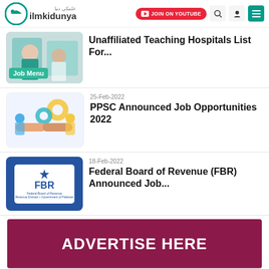[Figure (screenshot): ilmkidunya website header with logo, JOIN ON YOUTUBE button, search icon, user icon, menu icon]
[Figure (photo): Medical professionals in a clinical setting, with a green Job Menu badge]
Unaffiliated Teaching Hospitals List For...
25-Feb-2022
[Figure (illustration): PPSC business collaboration illustration with handshake and gears]
PPSC Announced Job Opportunities 2022
18-Feb-2022
[Figure (logo): Federal Board of Revenue FBR logo on blue background]
Federal Board of Revenue (FBR) Announced Job...
[Figure (infographic): Dark maroon advertise here banner]